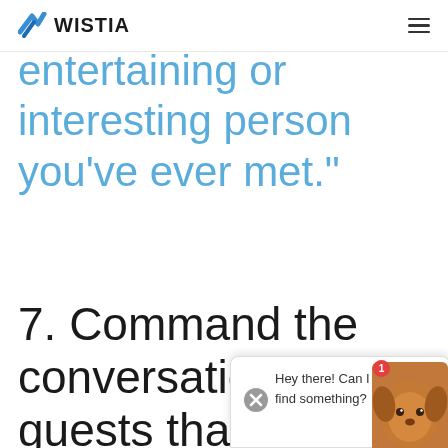[Figure (logo): Wistia logo with blue arrow/wing icon and WISTIA wordmark, plus hamburger menu icon on the right]
entertaining or interesting person you’ve ever met.”
7. Command the conversation with guests that are a little less ta…
[Figure (screenshot): Chat widget overlay showing close (X) button and message: 'Hey there! Can I help you find something?' with dog avatar thumbnail and notification badge showing 1]